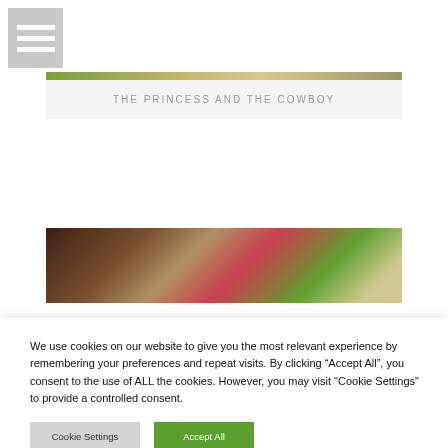[Figure (screenshot): Hamburger menu icon (three horizontal white bars on grey background) in the top-left corner]
[Figure (photo): Partially visible photo with outdoor greenery and warm tones at the top of the first card]
THE PRINCESS AND THE COWBOY
[Figure (photo): Partially visible photo showing blurred warm brown, red/pink, and green tones — beginning of a second card image]
We use cookies on our website to give you the most relevant experience by remembering your preferences and repeat visits. By clicking “Accept All”, you consent to the use of ALL the cookies. However, you may visit "Cookie Settings" to provide a controlled consent.
Cookie Settings
Accept All